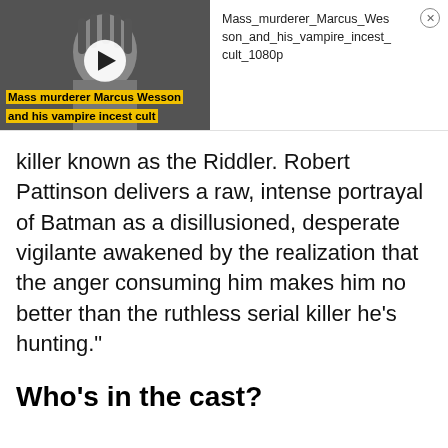[Figure (screenshot): Video thumbnail showing a grayscale image of a man with dreadlocks. Label reads 'Mass_murderer...' at top left. Yellow bold caption overlay reads 'Mass murderer Marcus Wesson and his vampire incest cult'. A white circular play button is centered on the image.]
Mass_murderer_Marcus_Wesson_and_his_vampire_incest_cult_1080p
killer known as the Riddler. Robert Pattinson delivers a raw, intense portrayal of Batman as a disillusioned, desperate vigilante awakened by the realization that the anger consuming him makes him no better than the ruthless serial killer he’s hunting.”
Who’s in the cast?